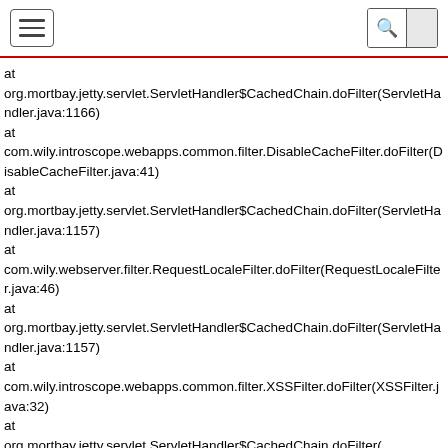[hamburger menu] [search icon]
at org.mortbay.jetty.servlet.ServletHandler$CachedChain.doFilter(ServletHandler.java:1166)
at com.wily.introscope.webapps.common.filter.DisableCacheFilter.doFilter(DisableCacheFilter.java:41)
at org.mortbay.jetty.servlet.ServletHandler$CachedChain.doFilter(ServletHandler.java:1157)
at com.wily.webserver.filter.RequestLocaleFilter.doFilter(RequestLocaleFilter.java:46)
at org.mortbay.jetty.servlet.ServletHandler$CachedChain.doFilter(ServletHandler.java:1157)
at com.wily.introscope.webapps.common.filter.XSSFilter.doFilter(XSSFilter.java:32)
at org.mortbay.jetty.servlet.ServletHandler$CachedChain.doFilter(